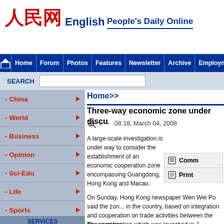人民网 English People's Daily Online
Home | Forum | Photos | Features | Newsletter | Archive | Employment
SEARCH
Home>>
Three-way economic zone under discu...
08:18, March 04, 2008
- China
- World
- Business
- Opinion
- Sci-Edu
- Life
- Sports
- Photo
- Archive
SERVICES
-Text Version
A large-scale investigation is under way to consider the establishment of an economic cooperation zone encompassing Guangdong, Hong Kong and Macao.
On Sunday, Hong Kong newspaper Wen Wei Po said the zone would be the largest in the country, based on integration and cooperation on trade activities between the three regions.
Comm...
Print